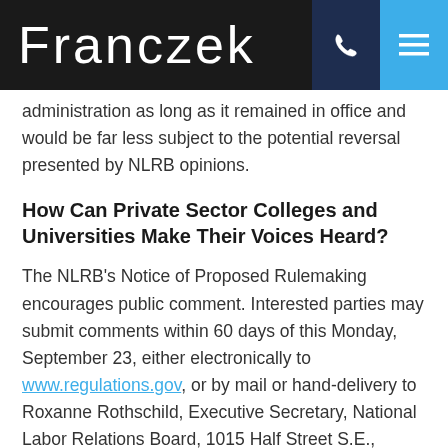FRANCZEK
administration as long as it remained in office and would be far less subject to the potential reversal presented by NLRB opinions.
How Can Private Sector Colleges and Universities Make Their Voices Heard?
The NLRB's Notice of Proposed Rulemaking encourages public comment. Interested parties may submit comments within 60 days of this Monday, September 23, either electronically to www.regulations.gov, or by mail or hand-delivery to Roxanne Rothschild, Executive Secretary, National Labor Relations Board, 1015 Half Street S.E., Washington, D.C.